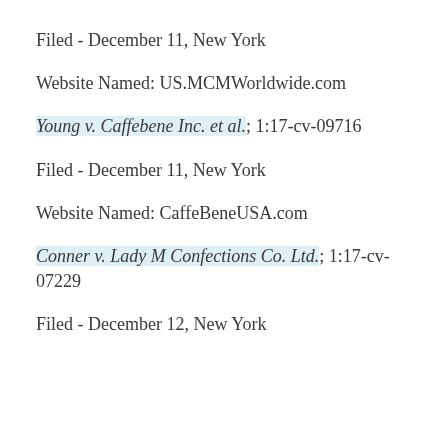Filed - December 11, New York
Website Named: US.MCMWorldwide.com
Young v. Caffebene Inc. et al.; 1:17-cv-09716
Filed - December 11, New York
Website Named: CaffeBeneUSA.com
Conner v. Lady M Confections Co. Ltd.; 1:17-cv-07229
Filed - December 12, New York